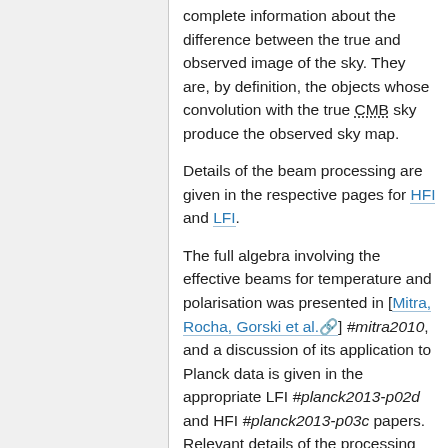complete information about the difference between the true and observed image of the sky. They are, by definition, the objects whose convolution with the true CMB sky produce the observed sky map.
Details of the beam processing are given in the respective pages for HFI and LFI.
The full algebra involving the effective beams for temperature and polarisation was presented in [Mitra, Rocha, Gorski et al.] #mitra2010, and a discussion of its application to Planck data is given in the appropriate LFI #planck2013-p02d and HFI #planck2013-p03c papers. Relevant details of the processing steps are given in the Effective Beams section of this document.